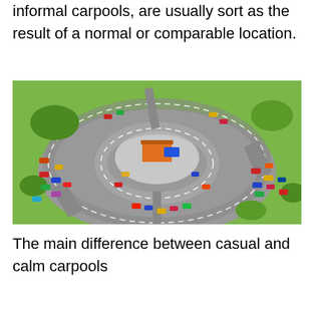informal carpools, are usually sort as the result of a normal or comparable location.
[Figure (photo): Aerial view of a large circular parking lot with many colorful cars arranged in curved rows around a central hub with an orange building, green grass surrounds the area.]
The main difference between casual and calm carpools
(text cut off at bottom of page)